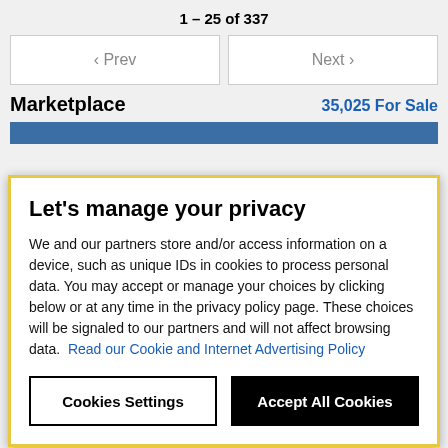1 – 25 of 337
< Prev
Next >
Marketplace
35,025 For Sale
Let's manage your privacy
We and our partners store and/or access information on a device, such as unique IDs in cookies to process personal data. You may accept or manage your choices by clicking below or at any time in the privacy policy page. These choices will be signaled to our partners and will not affect browsing data. Read our Cookie and Internet Advertising Policy
Cookies Settings
Accept All Cookies